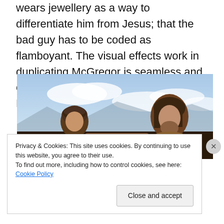wears jewellery as a way to differentiate him from Jesus; that the bad guy has to be coded as flamboyant. The visual effects work in duplicating McGregor is seamless and one does forget that there aren't two Ewan McGregors after a while.
[Figure (photo): Two people in desert/mountain clothing against a bright sky background. Left figure wears a wrapped head covering, right figure has long hair and a beard wearing layered scarves.]
Privacy & Cookies: This site uses cookies. By continuing to use this website, you agree to their use.
To find out more, including how to control cookies, see here: Cookie Policy
Close and accept